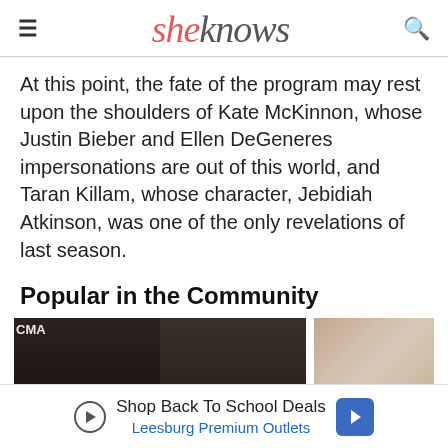sheknows
At this point, the fate of the program may rest upon the shoulders of Kate McKinnon, whose Justin Bieber and Ellen DeGeneres impersonations are out of this world, and Taran Killam, whose character, Jebidiah Atkinson, was one of the only revelations of last season.
Popular in the Community
[Figure (photo): Two side-by-side celebrity photos on dark background with CMA label visible on left edge]
[Figure (photo): Photo of a woman smiling, colorful background with people]
Shop Back To School Deals — Leesburg Premium Outlets